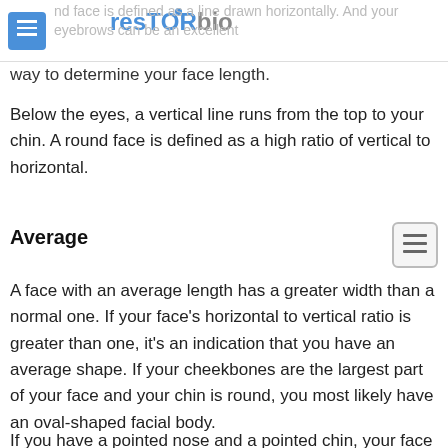resTORbio
nd face is defined as a line drawn horizontally. And your eyebrows can be an excellent way to determine your face length.
Below the eyes, a vertical line runs from the top to your chin. A round face is defined as a high ratio of vertical to horizontal.
Average
A face with an average length has a greater width than a normal one. If your face's horizontal to vertical ratio is greater than one, it's an indication that you have an average shape. If your cheekbones are the largest part of your face and your chin is round, you most likely have an oval-shaped facial body.
If you have a pointed nose and a pointed chin, your face is